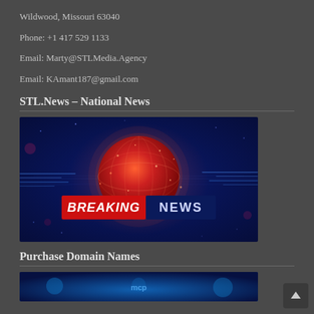Wildwood, Missouri 63040
Phone: +1 417 529 1133
Email: Marty@STLMedia.Agency
Email: KAmant187@gmail.com
STL.News – National News
[Figure (photo): Breaking News graphic with a glowing red/orange digital globe on a dark blue background. Text overlay reads 'BREAKING NEWS' with BREAKING on a red background and NEWS on a dark blue background.]
Purchase Domain Names
[Figure (photo): Partial view of a blue-toned technology/domain image, partially visible at the bottom of the page.]